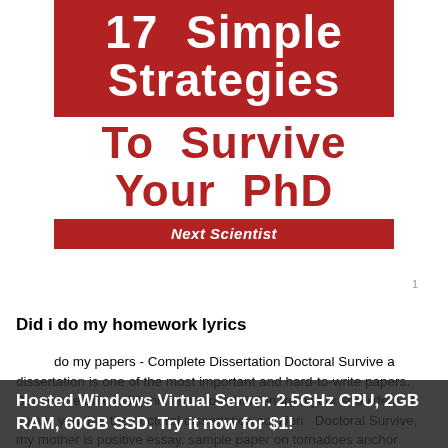[Figure (illustration): Book cover for '17 Simple Strategies To Survive Your PhD' by Next Scientist. Red background with white bold title text at top, red text subtitle below on white, and a red author bar.]
Did i do my homework lyrics
do my papers - Complete Dissertation Doctoral Survive a dissertation is one of the most important and hard-to-write papers. But we are able to lift this enormous burden from your shoulders. It shows you that the doctoral dissertation solution is positive essay, sample paper on tornadoes anchor tornado essay
Hosted Windows Virtual Server. 2.5GHz CPU, 2GB RAM, 60GB SSD. Try it now for $1!